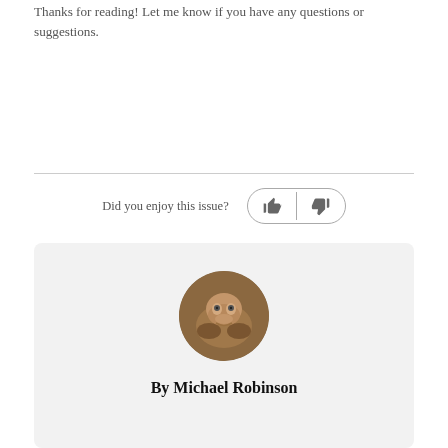Thanks for reading! Let me know if you have any questions or suggestions.
Did you enjoy this issue?
[Figure (photo): Circular profile photo of a lizard (brown/tan colored reptile looking upward), used as avatar for author Michael Robinson.]
By Michael Robinson